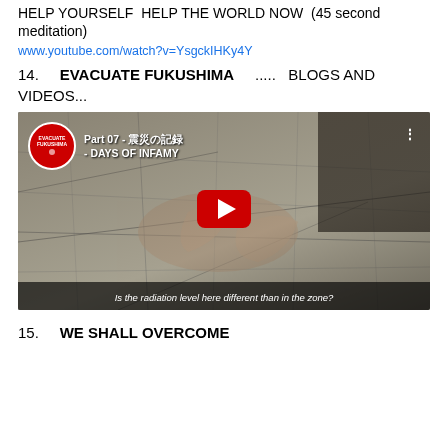HELP YOURSELF  HELP THE WORLD NOW  (45 second meditation)
www.youtube.com/watch?v=YsgckIHKy4Y
14.   EVACUATE FUKUSHIMA    .....  BLOGS AND VIDEOS...
[Figure (screenshot): YouTube video thumbnail showing 'Part 07 - 福島の証言 - DAYS OF INFAMY' from the Evacuate Fukushima channel. The video shows hands pointing at a map with subtitle 'Is the radiation level here different than in the zone?'. A red YouTube play button is centered on the image.]
15.   WE SHALL OVERCOME